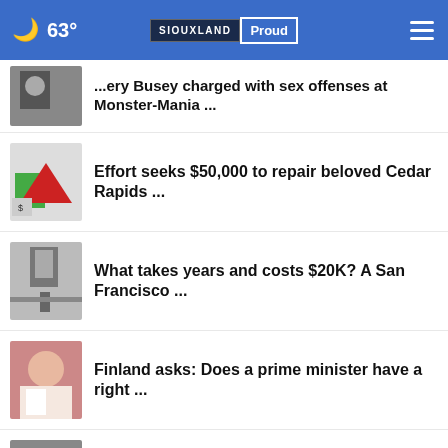63° SIOUXLAND Proud
...ery Busey charged with sex offenses at Monster-Mania …
Effort seeks $50,000 to repair beloved Cedar Rapids …
What takes years and costs $20K? A San Francisco …
Finland asks: Does a prime minister have a right …
FEMA declares new strategy to engage Native American …
More Stories ›